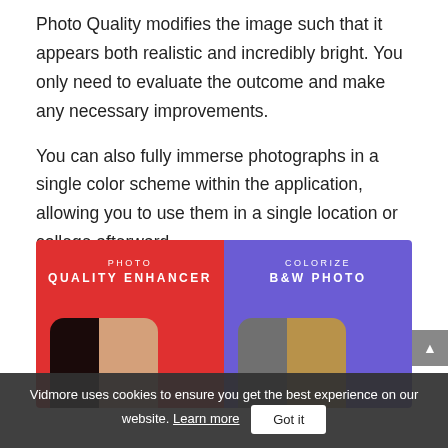Photo Quality modifies the image such that it appears both realistic and incredibly bright. You only need to evaluate the outcome and make any necessary improvements.
You can also fully immerse photographs in a single color scheme within the application, allowing you to use them in a single location or college afterward.
[Figure (screenshot): Two app feature panels side by side: left panel (red background) shows 'PHOTO QUALITY ENHANCER' with a phone mock-up displaying a before/after female portrait; right panel (purple background) shows 'COLORIZE B&W PHOTO' with a phone mock-up displaying a before/after black-and-white portrait being colorized.]
Vidmore uses cookies to ensure you get the best experience on our website. Learn more   Got it